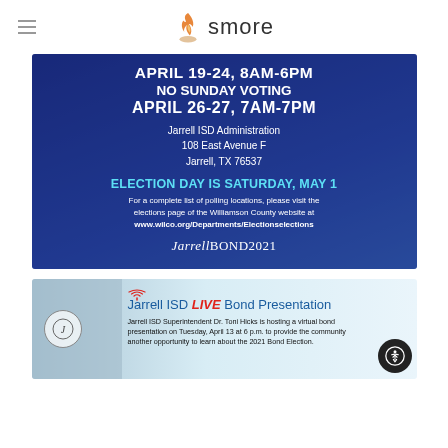smore
[Figure (infographic): Jarrell Bond 2021 early voting banner: APRIL 19-24, 8AM-6PM / NO SUNDAY VOTING / APRIL 26-27, 7AM-7PM / Jarrell ISD Administration / 108 East Avenue F / Jarrell, TX 76537 / ELECTION DAY IS SATURDAY, MAY 1 / For a complete list of polling locations, please visit the elections page of the Williamson County website at www.wilco.org/Departments/Electionselections / Jarrell BOND2021]
[Figure (infographic): Jarrell ISD LIVE Bond Presentation banner. Jarrell ISD Superintendent Dr. Toni Hicks is hosting a virtual bond presentation on Tuesday, April 13 at 6 p.m. to provide the community another opportunity to learn about the 2021 Bond Election.]